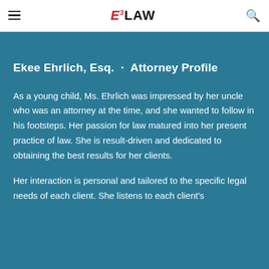≡  E³LAW  🔍
Ekee Ehrlich, Esq.  ·  Attorney Profile
As a young child, Ms. Ehrlich was impressed by her uncle who was an attorney at the time, and she wanted to follow in his footsteps. Her passion for law matured into her present practice of law. She is result-driven and dedicated to obtaining the best results for her clients.
Her interaction is personal and tailored to the specific legal needs of each client. She listens to each client's